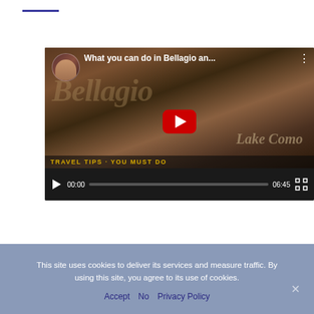[Figure (screenshot): YouTube video embed showing 'What you can do in Bellagio an...' with a thumbnail of Bellagio Lake Como travel tips video. Controls show 00:00 timestamp and 06:45 duration.]
This site uses cookies to deliver its services and measure traffic. By using this site, you agree to its use of cookies.
Accept   No   Privacy Policy